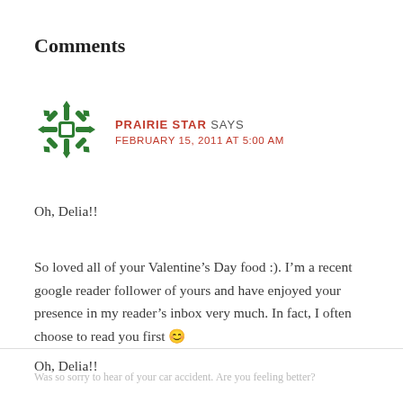Comments
[Figure (illustration): Green snowflake/star decorative avatar icon for Prairie Star commenter]
PRAIRIE STAR SAYS
FEBRUARY 15, 2011 AT 5:00 AM
Oh, Delia!!
So loved all of your Valentine’s Day food :). I’m a recent google reader follower of yours and have enjoyed your presence in my reader’s inbox very much. In fact, I often choose to read you first 😊
Oh, Delia!!
Was so sorry to hear of your car accident. Are you feeling better?